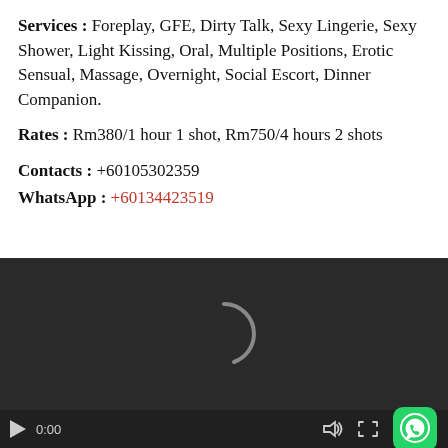Services : Foreplay, GFE, Dirty Talk, Sexy Lingerie, Sexy Shower, Light Kissing, Oral, Multiple Positions, Erotic Sensual, Massage, Overnight, Social Escort, Dinner Companion.
Rates : Rm380/1 hour 1 shot, Rm750/4 hours 2 shots
Contacts : +60105302359
WhatsApp : +60134423519
[Figure (screenshot): Video player with dark background showing a loading spinner, play button, time 0:00, volume icon, fullscreen icon, and WhatsApp icon in bottom right corner.]